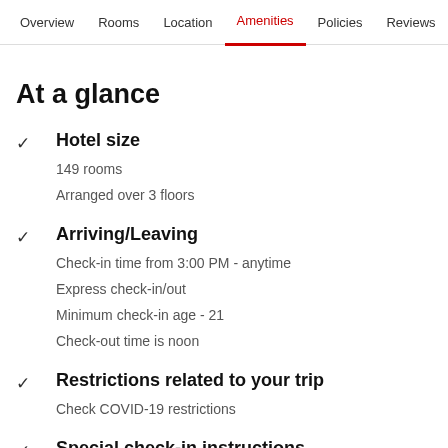Overview  Rooms  Location  Amenities  Policies  Reviews
At a glance
Hotel size
149 rooms
Arranged over 3 floors
Arriving/Leaving
Check-in time from 3:00 PM - anytime
Express check-in/out
Minimum check-in age - 21
Check-out time is noon
Restrictions related to your trip
Check COVID-19 restrictions
Special check-in instructions